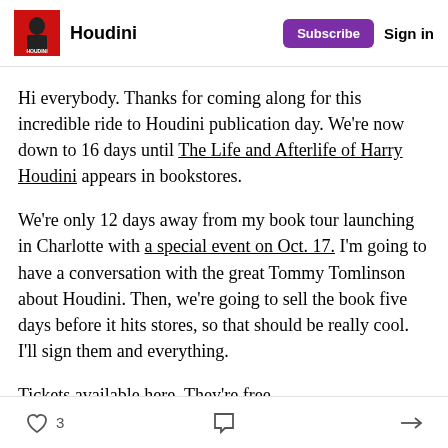Houdini | Subscribe | Sign in
Hi everybody. Thanks for coming along for this incredible ride to Houdini publication day. We're now down to 16 days until The Life and Afterlife of Harry Houdini appears in bookstores.
We're only 12 days away from my book tour launching in Charlotte with a special event on Oct. 17. I'm going to have a conversation with the great Tommy Tomlinson about Houdini. Then, we're going to sell the book five days before it hits stores, so that should be really cool. I'll sign them and everything.
Tickets available here. They're free.
3 [like] [comment] [share]